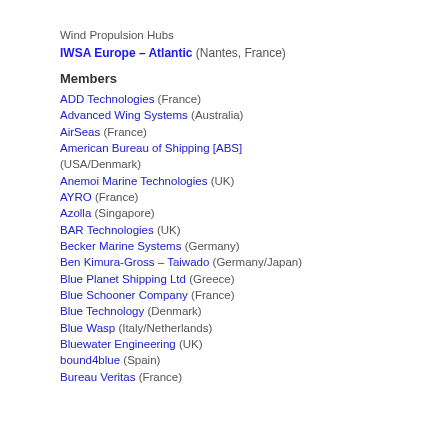Wind Propulsion Hubs
IWSA Europe – Atlantic (Nantes, France)
Members
ADD Technologies (France)
Advanced Wing Systems (Australia)
AirSeas (France)
American Bureau of Shipping [ABS] (USA/Denmark)
Anemoi Marine Technologies (UK)
AYRO (France)
Azolla (Singapore)
BAR Technologies (UK)
Becker Marine Systems (Germany)
Ben Kimura-Gross – Taiwado (Germany/Japan)
Blue Planet Shipping Ltd (Greece)
Blue Schooner Company (France)
Blue Technology (Denmark)
Blue Wasp (Italy/Netherlands)
Bluewater Engineering (UK)
bound4blue (Spain)
Bureau Veritas (France)